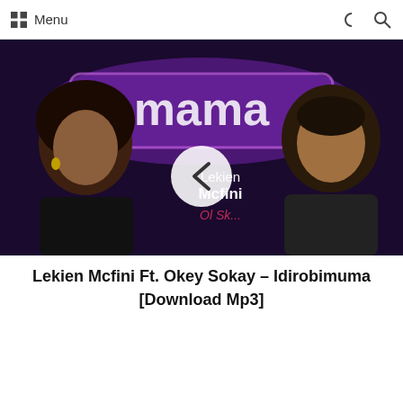Menu
[Figure (photo): Music promo image showing two people (a woman on the left with natural hair and a man on the right smiling) against a purple neon 'mama' sign background. A circular back-arrow navigation button overlays the center. Text reads 'Lekien Mcfini' and partially visible 'Ol Sk...']
Lekien Mcfini Ft. Okey Sokay – Idirobimuma [Download Mp3]